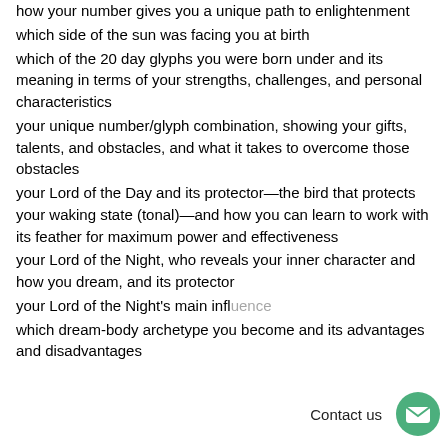how your number gives you a unique path to enlightenment
which side of the sun was facing you at birth
which of the 20 day glyphs you were born under and its meaning in terms of your strengths, challenges, and personal characteristics
your unique number/glyph combination, showing your gifts, talents, and obstacles, and what it takes to overcome those obstacles
your Lord of the Day and its protector—the bird that protects your waking state (tonal)—and how you can learn to work with its feather for maximum power and effectiveness
your Lord of the Night, who reveals your inner character and how you dream, and its protector
your Lord of the Night's main influence
which dream-body archetype you become and its advantages and disadvantages